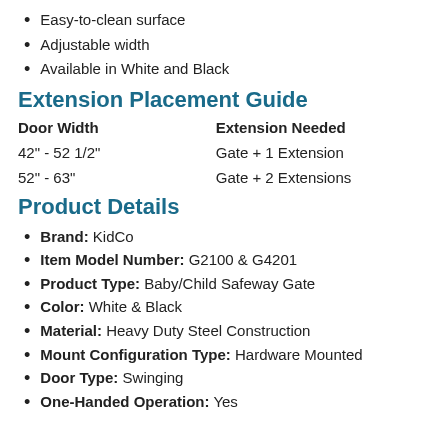Easy-to-clean surface
Adjustable width
Available in White and Black
Extension Placement Guide
| Door Width | Extension Needed |
| --- | --- |
| 42" - 52 1/2" | Gate + 1 Extension |
| 52" - 63" | Gate + 2 Extensions |
Product Details
Brand: KidCo
Item Model Number: G2100 & G4201
Product Type: Baby/Child Safeway Gate
Color: White & Black
Material: Heavy Duty Steel Construction
Mount Configuration Type: Hardware Mounted
Door Type: Swinging
One-Handed Operation: Yes